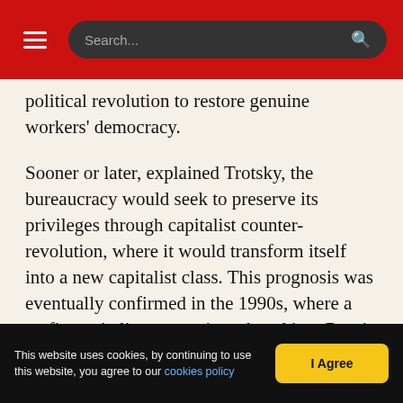Search...
political revolution to restore genuine workers' democracy.
Sooner or later, explained Trotsky, the bureaucracy would seek to preserve its privileges through capitalist counter-revolution, where it would transform itself into a new capitalist class. This prognosis was eventually confirmed in the 1990s, where a mafia-capitalism was reintroduced into Russia and the “Communists” transferred themselves into millionaire capitalists through the privatisation of state industry.
The victory of Hitler had frightened Stalin. Up until
This website uses cookies, by continuing to use this website, you agree to our cookies policy  |  I Agree